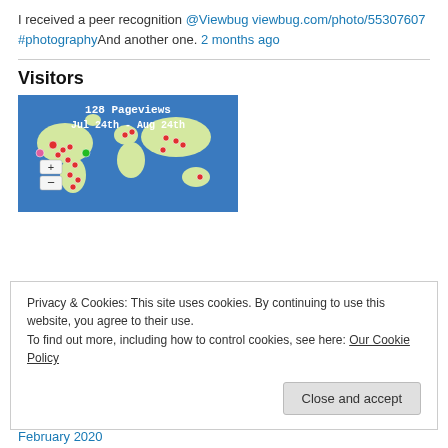I received a peer recognition @Viewbug viewbug.com/photo/55307607 #photographyAnd another one. 2 months ago
Visitors
[Figure (map): World visitor map showing 128 Pageviews from Jul 24th - Aug 24th with red and green dots on various locations worldwide. Map has blue ocean background and light green landmasses. Zoom +/- controls on left.]
Privacy & Cookies: This site uses cookies. By continuing to use this website, you agree to their use.
To find out more, including how to control cookies, see here: Our Cookie Policy
Close and accept
February 2020